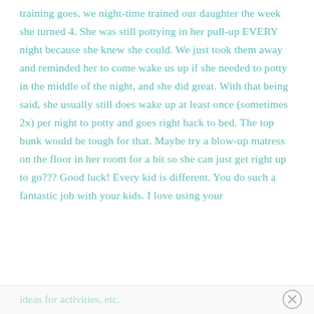training goes, we night-time trained our daughter the week she turned 4. She was still pottying in her pull-up EVERY night because she knew she could. We just took them away and reminded her to come wake us up if she needed to potty in the middle of the night, and she did great. With that being said, she usually still does wake up at least once (sometimes 2x) per night to potty and goes right back to bed. The top bunk would be tough for that. Maybe try a blow-up matress on the floor in her room for a bit so she can just get right up to go??? Good luck! Every kid is different. You do such a fantastic job with your kids. I love using your
ideas for activities, etc.